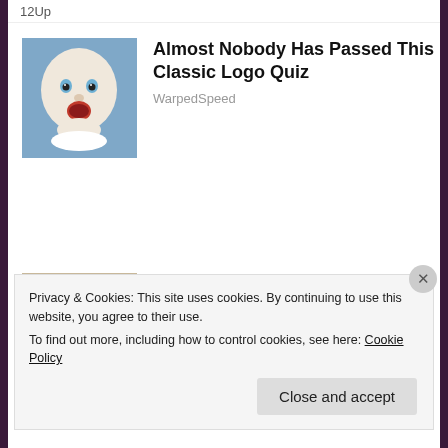12Up
[Figure (illustration): Illustrated baby face with open mouth on light blue background]
Almost Nobody Has Passed This Classic Logo Quiz
WarpedSpeed
[Figure (photo): Photo of a man in dark suit and a young woman with sunglasses]
[Photos] The 30 Richest Men Alive And Their Wives
Bon Voyaged
Privacy & Cookies: This site uses cookies. By continuing to use this website, you agree to their use.
To find out more, including how to control cookies, see here: Cookie Policy
Close and accept